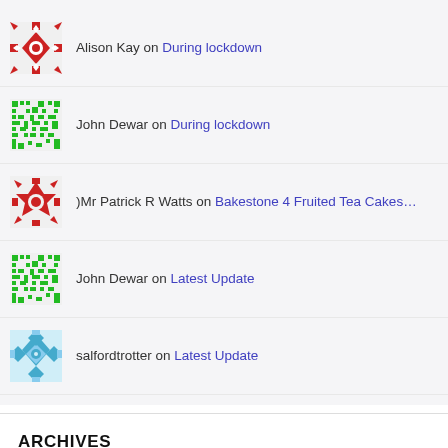Alison Kay on During lockdown
John Dewar on During lockdown
)Mr Patrick R Watts on Bakestone 4 Fruited Tea Cakes...
John Dewar on Latest Update
salfordtrotter on Latest Update
ARCHIVES
May 2020